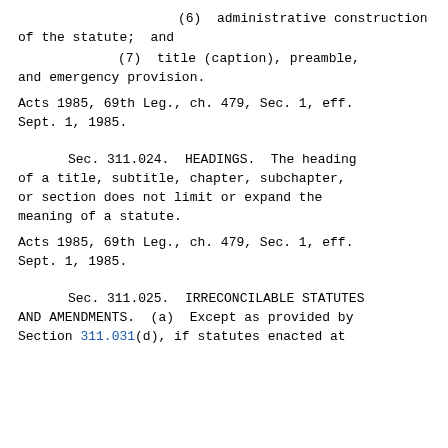(6)  administrative construction of the statute;  and
(7)  title (caption), preamble, and emergency provision.
Acts 1985, 69th Leg., ch. 479, Sec. 1, eff. Sept. 1, 1985.
Sec. 311.024.  HEADINGS.  The heading of a title, subtitle, chapter, subchapter, or section does not limit or expand the meaning of a statute.
Acts 1985, 69th Leg., ch. 479, Sec. 1, eff. Sept. 1, 1985.
Sec. 311.025.  IRRECONCILABLE STATUTES AND AMENDMENTS.  (a)  Except as provided by Section 311.031(d), if statutes enacted at